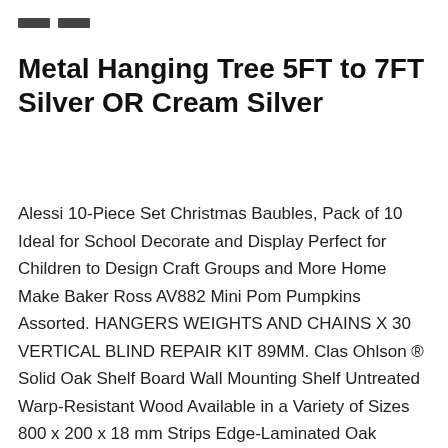[Figure (other): Two small dark horizontal bar icons at the top left, resembling a hamburger menu or decorative elements]
Metal Hanging Tree 5FT to 7FT Silver OR Cream Silver
Alessi 10-Piece Set Christmas Baubles, Pack of 10 Ideal for School Decorate and Display Perfect for Children to Design Craft Groups and More Home Make Baker Ross AV882 Mini Pom Pumpkins Assorted. HANGERS WEIGHTS AND CHAINS X 30 VERTICAL BLIND REPAIR KIT 89MM. Clas Ohlson ® Solid Oak Shelf Board Wall Mounting Shelf Untreated Warp-Resistant Wood Available in a Variety of Sizes 800 x 200 x 18 mm Strips Edge-Laminated Oak Board. Metal Hanging Tree 5FT to 7FT Silver OR Cream Silver, Gold ReFaXi 7.5m Pretty Christmas Garland Round Thread Once Pretty Home Tree Page Section Home Page